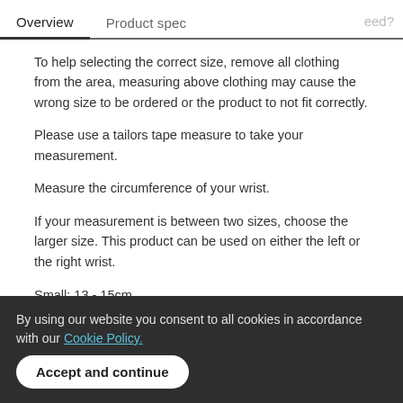Overview   Product spec   eed?
To help selecting the correct size, remove all clothing from the area, measuring above clothing may cause the wrong size to be ordered or the product to not fit correctly.
Please use a tailors tape measure to take your measurement.
Measure the circumference of your wrist.
If your measurement is between two sizes, choose the larger size. This product can be used on either the left or the right wrist.
Small: 13 - 15cm
Medium: 15 - 17cm
Large: 17 - 19cm
X-Large: 19 - 21cm
XX-Large: 21 - 23cm
By using our website you consent to all cookies in accordance with our Cookie Policy.